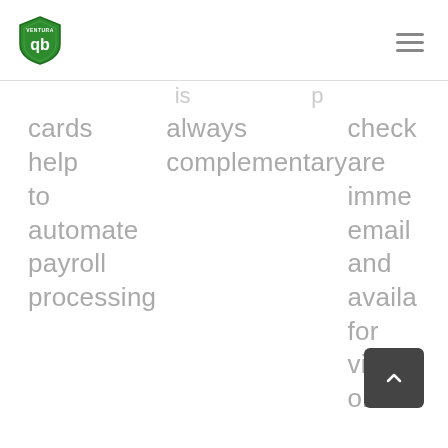[Figure (logo): Ventura QB shield logo - green shield with white 'qb' text]
cards help to automate payroll processing
is always complementary
checks are immediately email and available for view online